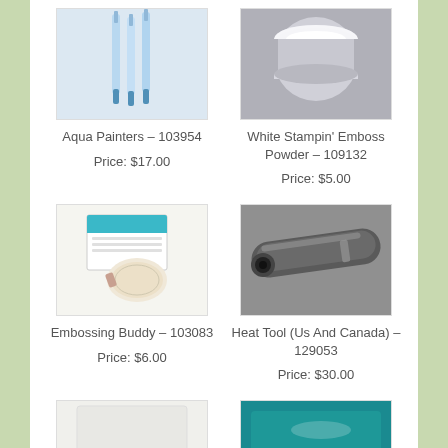[Figure (photo): Aqua Painters - light blue watercolor brush pens]
Aqua Painters – 103954
Price: $17.00
[Figure (photo): White Stampin' Emboss Powder in a round clear container]
White Stampin' Emboss Powder – 109132
Price: $5.00
[Figure (photo): Embossing Buddy - powder pouch with packaging card]
Embossing Buddy – 103083
Price: $6.00
[Figure (photo): Heat Tool (Us And Canada) - dark metallic heat gun pen]
Heat Tool (Us And Canada) – 129053
Price: $30.00
[Figure (photo): Partial view of another product at bottom left]
[Figure (photo): Partial view of teal product at bottom right]